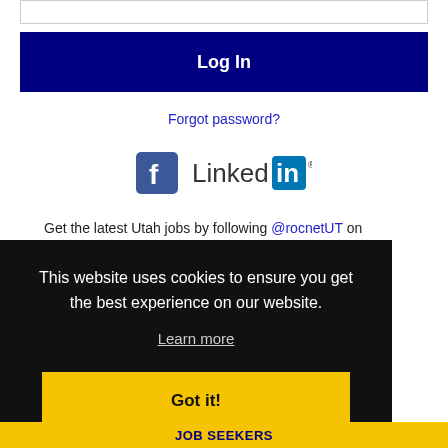[Figure (screenshot): Text input box at top of login form]
Log In
Forgot password?
[Figure (logo): Facebook and LinkedIn social login icons]
Get the latest Utah jobs by following @rocnetUT on
This website uses cookies to ensure you get the best experience on our website.
Learn more
Got it!
JOB SEEKERS